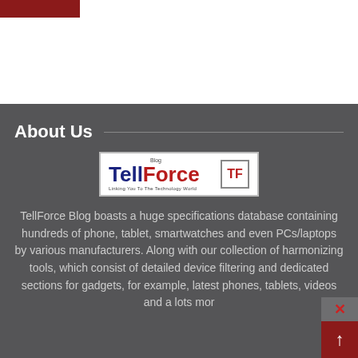[Figure (logo): Dark red/maroon rectangular bar at top left of white section]
About Us
[Figure (logo): TellForce Blog logo — 'TellForce' in blue and red bold text with 'Blog' above and 'Linking You To The Technology World' tagline, with TF icon box on right]
TellForce Blog boasts a huge specifications database containing hundreds of phone, tablet, smartwatches and even PCs/laptops by various manufacturers. Along with our collection of harmonizing tools, which consist of detailed device filtering and dedicated sections for gadgets, for example, latest phones, tablets, videos and a lots mor